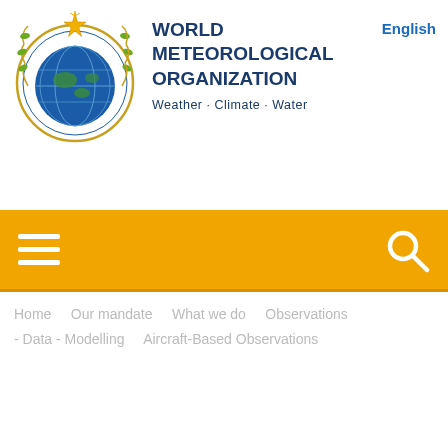[Figure (logo): World Meteorological Organization circular emblem with globe, laurel wreath, and gold star compass]
WORLD METEOROLOGICAL ORGANIZATION
Weather · Climate · Water
English
[Figure (infographic): Orange navigation bar with white hamburger menu icon on the left and white search icon on the right]
Home  Our mandate  What we do  Observations - Data - Modelling  Aircraft-Based Observations